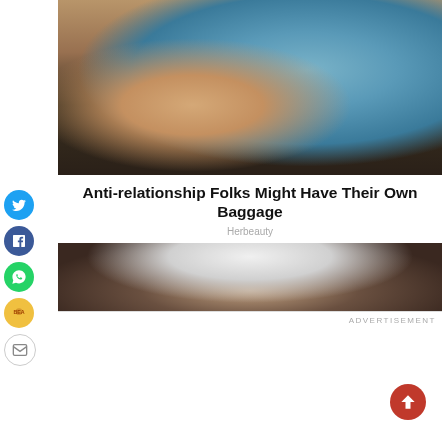[Figure (photo): Couple at a cafe table, man leaning toward woman, stone wall background]
Anti-relationship Folks Might Have Their Own Baggage
Herbeauty
[Figure (photo): Woman with dark hair in an interior setting]
ADVERTISEMENT